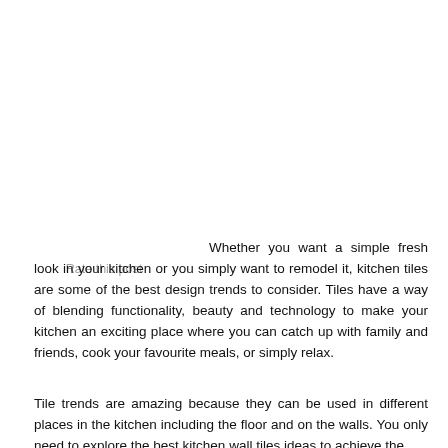Rate this post
Whether you want a simple fresh look in your kitchen or you simply want to remodel it, kitchen tiles are some of the best design trends to consider. Tiles have a way of blending functionality, beauty and technology to make your kitchen an exciting place where you can catch up with family and friends, cook your favourite meals, or simply relax.
Tile trends are amazing because they can be used in different places in the kitchen including the floor and on the walls. You only need to explore the best kitchen wall tiles ideas to achieve the